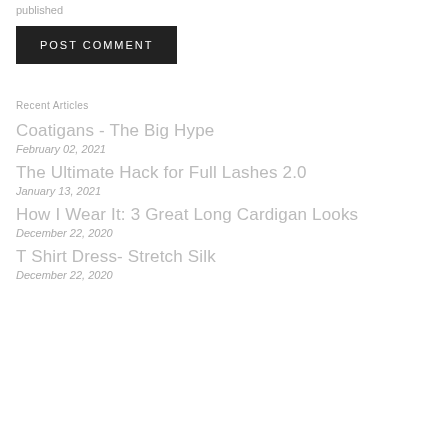published
Post comment
Recent Articles
Coatigans - The Big Hype
February 02, 2021
The Ultimate Hack for Full Lashes 2.0
January 13, 2021
How I Wear It: 3 Great Long Cardigan Looks
December 22, 2020
T Shirt Dress- Stretch Silk
December 22, 2020